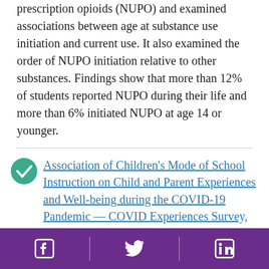prescription opioids (NUPO) and examined associations between age at substance use initiation and current use. It also examined the order of NUPO initiation relative to other substances. Findings show that more than 12% of students reported NUPO during their life and more than 6% initiated NUPO at age 14 or younger.
Association of Children's Mode of School Instruction on Child and Parent Experiences and Well-being during the COVID-19 Pandemic — COVID Experiences Survey, United States, October 8–November 13, 2020
Facebook | Twitter | LinkedIn